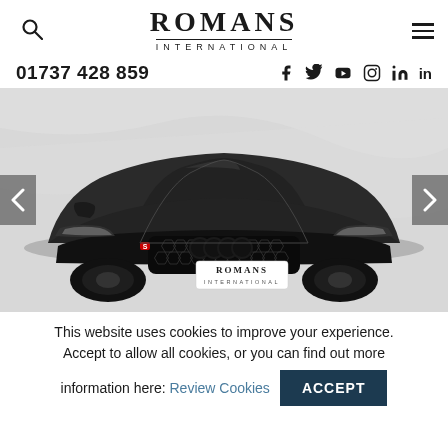ROMANS INTERNATIONAL
01737 428 859
[Figure (photo): Dark grey Audi RS3 sports car facing forward, photographed in a showroom against a light marble background, with a Romans International dealer plate on the front grille. Navigation arrows visible on left and right sides of the image.]
This website uses cookies to improve your experience. Accept to allow all cookies, or you can find out more information here: Review Cookies ACCEPT